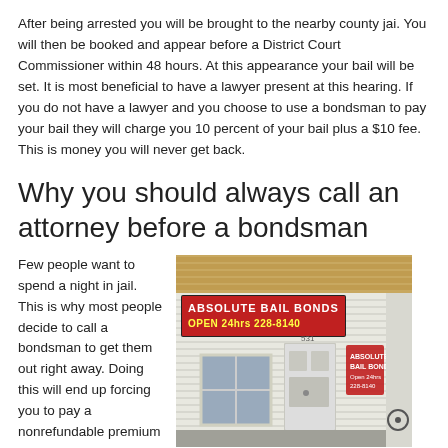After being arrested you will be brought to the nearby county jai. You will then be booked and appear before a District Court Commissioner within 48 hours. At this appearance your bail will be set. It is most beneficial to have a lawyer present at this hearing. If you do not have a lawyer and you choose to use a bondsman to pay your bail they will charge you 10 percent of your bail plus a $10 fee. This is money you will never get back.
Why you should always call an attorney before a bondsman
Few people want to spend a night in jail. This is why most people decide to call a bondsman to get them out right away. Doing this will end up forcing you to pay a nonrefundable premium to the bondsman's services. You can avoid this and more costs by calling a lawyer first...
[Figure (photo): Exterior photo of a bail bonds office labeled 'ABSOLUTE BAIL BONDS OPEN 24hrs 228-8140', a small white building with a red neon sign.]